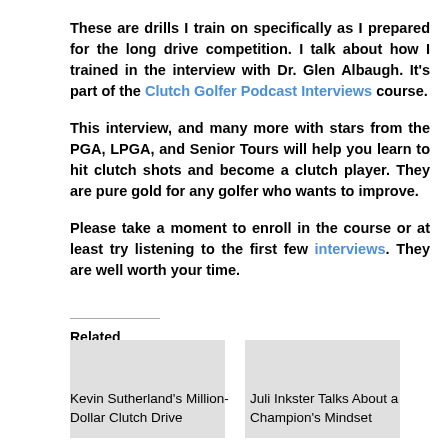These are drills I train on specifically as I prepared for the long drive competition. I talk about how I trained in the interview with Dr. Glen Albaugh. It's part of the Clutch Golfer Podcast Interviews course.
This interview, and many more with stars from the PGA, LPGA, and Senior Tours will help you learn to hit clutch shots and become a clutch player. They are pure gold for any golfer who wants to improve.
Please take a moment to enroll in the course or at least try listening to the first few interviews. They are well worth your time.
Related
Kevin Sutherland's Million-Dollar Clutch Drive
Juli Inkster Talks About a Champion's Mindset